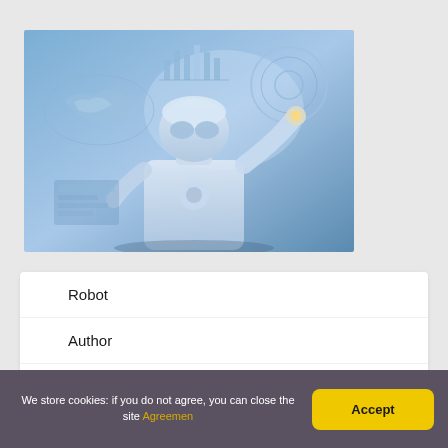[Figure (photo): A humanoid robot wearing goggles and a helmet, reaching forward with one hand toward holographic data displays (world map, bar charts, circular HUD) in a futuristic blue-toned environment.]
Robot
Author
Privacy Policy
We store cookies: if you do not agree, you can close the site Agreemen
Accept